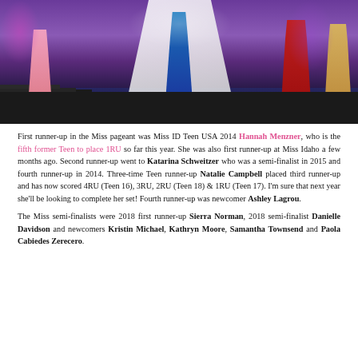[Figure (photo): Pageant contestants on stage; center figure in blue gown with crown and sash, flanked by other contestants in various colored gowns, with purple curtains and white draping in background.]
First runner-up in the Miss pageant was Miss ID Teen USA 2014 Hannah Menzner, who is the fifth former Teen to place 1RU so far this year. She was also first runner-up at Miss Idaho a few months ago. Second runner-up went to Katarina Schweitzer who was a semi-finalist in 2015 and fourth runner-up in 2014. Three-time Teen runner-up Natalie Campbell placed third runner-up and has now scored 4RU (Teen 16), 3RU, 2RU (Teen 18) & 1RU (Teen 17). I'm sure that next year she'll be looking to complete her set! Fourth runner-up was newcomer Ashley Lagrou.
The Miss semi-finalists were 2018 first runner-up Sierra Norman, 2018 semi-finalist Danielle Davidson and newcomers Kristin Michael, Kathryn Moore, Samantha Townsend and Paola Cabiedes Zerecero.